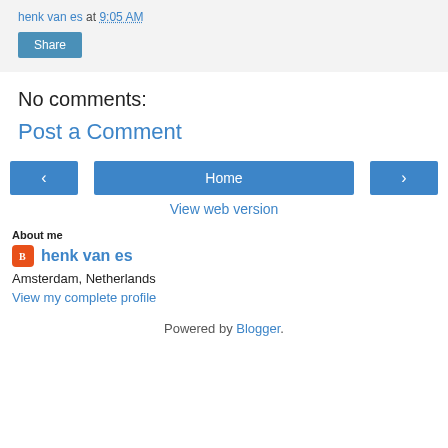henk van es at 9:05 AM
Share
No comments:
Post a Comment
< Home >
View web version
About me
henk van es
Amsterdam, Netherlands
View my complete profile
Powered by Blogger.